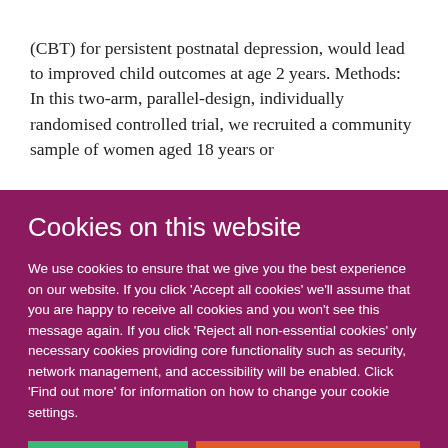(CBT) for persistent postnatal depression, would lead to improved child outcomes at age 2 years. Methods: In this two-arm, parallel-design, individually randomised controlled trial, we recruited a community sample of women aged 18 years or
Cookies on this website
We use cookies to ensure that we give you the best experience on our website. If you click 'Accept all cookies' we'll assume that you are happy to receive all cookies and you won't see this message again. If you click 'Reject all non-essential cookies' only necessary cookies providing core functionality such as security, network management, and accessibility will be enabled. Click 'Find out more' for information on how to change your cookie settings.